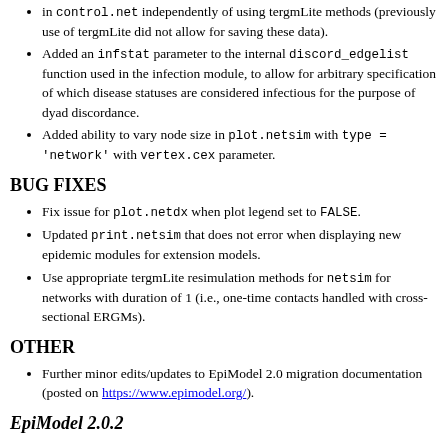in control.net independently of using tergmLite methods (previously use of tergmLite did not allow for saving these data).
Added an infstat parameter to the internal discord_edgelist function used in the infection module, to allow for arbitrary specification of which disease statuses are considered infectious for the purpose of dyad discordance.
Added ability to vary node size in plot.netsim with type = 'network' with vertex.cex parameter.
BUG FIXES
Fix issue for plot.netdx when plot legend set to FALSE.
Updated print.netsim that does not error when displaying new epidemic modules for extension models.
Use appropriate tergmLite resimulation methods for netsim for networks with duration of 1 (i.e., one-time contacts handled with cross-sectional ERGMs).
OTHER
Further minor edits/updates to EpiModel 2.0 migration documentation (posted on https://www.epimodel.org/).
EpiModel 2.0.2